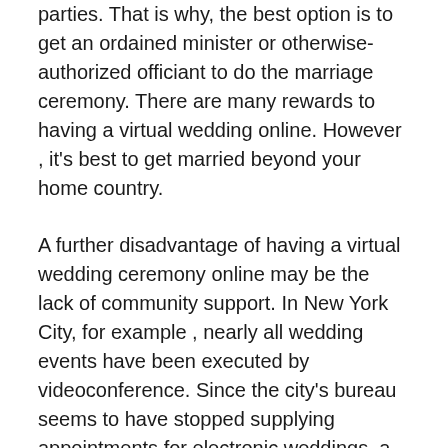parties. That is why, the best option is to get an ordained minister or otherwise-authorized officiant to do the marriage ceremony. There are many rewards to having a virtual wedding online. However , it's best to get married beyond your home country.
A further disadvantage of having a virtual wedding ceremony online may be the lack of community support. In New York City, for example , nearly all wedding events have been executed by videoconference. Since the city's bureau seems to have stopped supplying appointments for electronic weddings, a large number of couples had to hire personal officiants to carry out their ceremonies. However , several couples are generally able to preserve their strategies despite the difficulties they will face in locating an officiant. If you're planning for a virtual marriage, consider having your friends and relatives watch the ceremony by way of a live video stream.